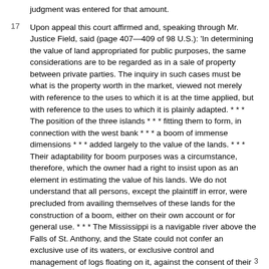judgment was entered for that amount.
17  Upon appeal this court affirmed and, speaking through Mr. Justice Field, said (page 407—409 of 98 U.S.): 'In determining the value of land appropriated for public purposes, the same considerations are to be regarded as in a sale of property between private parties. The inquiry in such cases must be what is the property worth in the market, viewed not merely with reference to the uses to which it is at the time applied, but with reference to the uses to which it is plainly adapted. * * * The position of the three islands * * * fitting them to form, in connection with the west bank * * * a boom of immense dimensions * * * added largely to the value of the lands. * * * Their adaptability for boom purposes was a circumstance, therefore, which the owner had a right to insist upon as an element in estimating the value of his lands. We do not understand that all persons, except the plaintiff in error, were precluded from availing themselves of these lands for the construction of a boom, either on their own account or for general use. * * * The Mississippi is a navigable river above the Falls of St. Anthony, and the State could not confer an exclusive use of its waters, or exclusive control and management of logs floating on it, against the consent of their owners.'
18  The principle governing that case has been frequently applied here
3